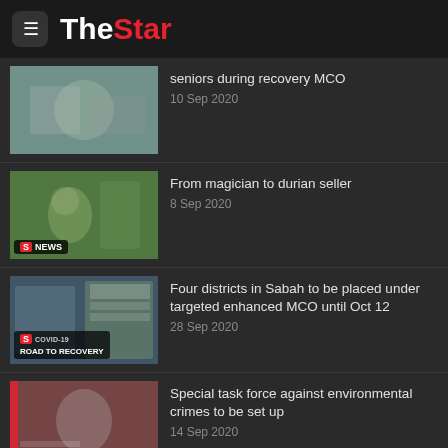The Star
seniors during recovery MCO
10 Sep 2020
From magician to durian seller
8 Sep 2020
Four districts in Sabah to be placed under targeted enhanced MCO until Oct 12
28 Sep 2020
Special task force against environmental crimes to be set up
14 Sep 2020
Finding friendship through charity
28 Aug 2020